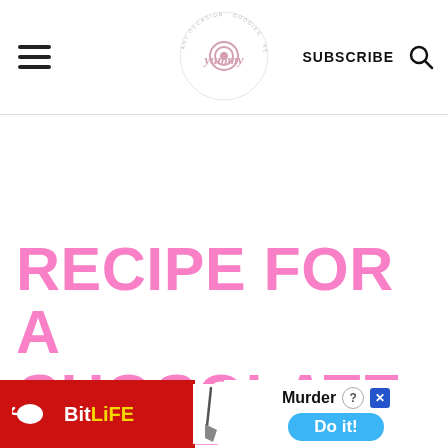yumy (logo) | SUBSCRIBE | Search
RECIPE FOR A CHOCOLATE EASTER CAKE
[Figure (screenshot): BitLife advertisement banner with red background on left showing sperm logo and 'BitLiFE' text, and white/blue section on right showing knife graphic, 'Murder' text with question and close icons, and 'Do it!' blue button]